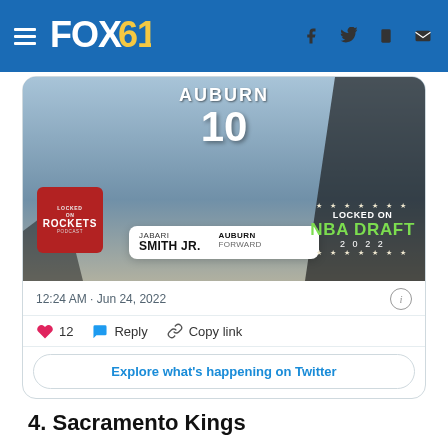FOX61
[Figure (screenshot): Embedded tweet showing a basketball player in Auburn #10 jersey (Jabari Smith Jr., Auburn Forward) with Locked On Rockets Podcast logo and Locked On NBA Draft 2022 badge]
12:24 AM · Jun 24, 2022
12  Reply  Copy link
Explore what's happening on Twitter
4. Sacramento Kings